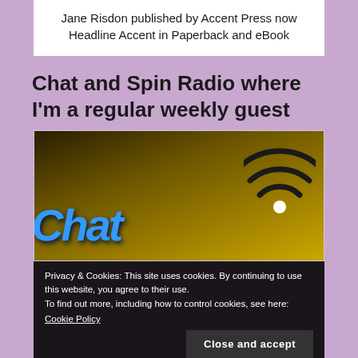Jane Risdon published by Accent Press now Headline Accent in Paperback and eBook
Chat and Spin Radio where I'm a regular weekly guest
[Figure (photo): Chat and Spin Radio logo on a dark golden/olive background with blue stylized 'Chat' text and a wifi/radio wave icon in black on the right]
Privacy & Cookies: This site uses cookies. By continuing to use this website, you agree to their use.
To find out more, including how to control cookies, see here:
Cookie Policy
Close and accept
My interviews on Chat and Spin Radio...